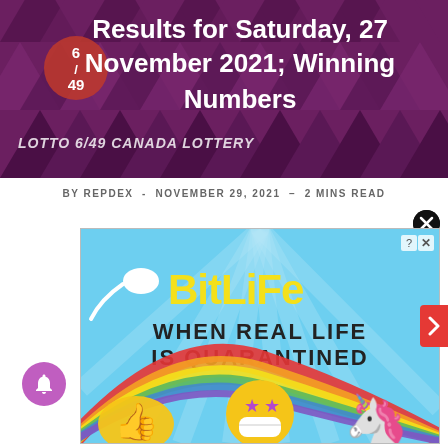[Figure (illustration): Hero banner with purple background, geometric triangle pattern, Lotto 6/49 branding, and title text 'Results for Saturday, 27 November 2021; Winning Numbers']
BY REPDEX  -  NOVEMBER 29, 2021  –  2 MINS READ
[Figure (illustration): BitLife advertisement banner with cyan/sky-blue background, sperm cell icon, yellow 'BitLife' text, 'WHEN REAL LIFE IS QUARANTINED' in black bold, rainbow arc with smiley emoji wearing mask and star eyes, unicorn illustration, thumbs up emoji. Has close (X) and info (?) buttons in top right corner.]